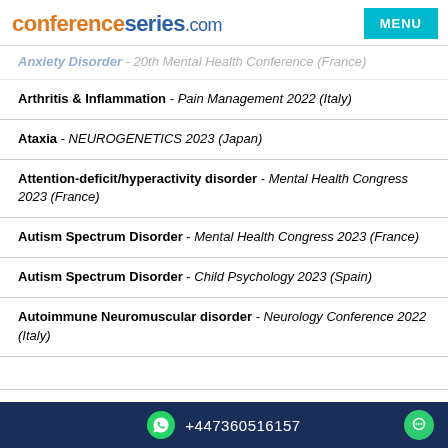conferenceseries.com
Arthritis & Inflammation - Pain Management 2022 (Italy)
Ataxia - NEUROGENETICS 2023 (Japan)
Attention-deficit/hyperactivity disorder - Mental Health Congress 2023 (France)
Autism Spectrum Disorder - Mental Health Congress 2023 (France)
Autism Spectrum Disorder - Child Psychology 2023 (Spain)
Autoimmune Neuromuscular disorder - Neurology Conference 2022 (Italy)
+447360516157